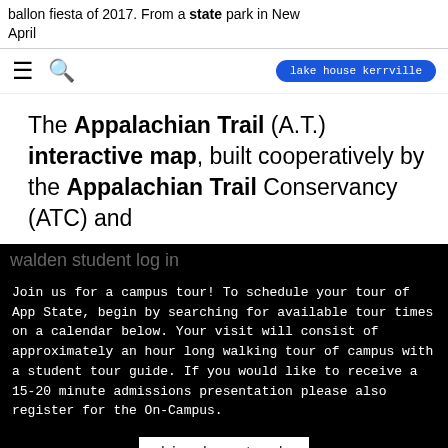ballon fiesta of 2017. From a state park in New April
hamburger menu | search icon | lake house kerrville
The Appalachian Trail (A.T.) interactive map, built cooperatively by the Appalachian Trail Conservancy (ATC) and
walden student log in
Join us for a campus tour! To schedule your tour of App State, begin by searching for available tour times on a calendar below. Your visit will consist of approximately an hour long walking tour of campus with a student tour guide. If you would like to receive a 15-20 minute admissions presentation please also register for the On-Campus.
big chevy truck